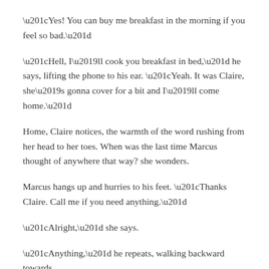“Yes! You can buy me breakfast in the morning if you feel so bad.”
“Hell, I’ll cook you breakfast in bed,” he says, lifting the phone to his ear. “Yeah. It was Claire, she’s gonna cover for a bit and I’ll come home.”
Home, Claire notices, the warmth of the word rushing from her head to her toes. When was the last time Marcus thought of anywhere that way? she wonders.
Marcus hangs up and hurries to his feet. “Thanks Claire. Call me if you need anything.”
“Alright,” she says.
“Anything,” he repeats, walking backward towards